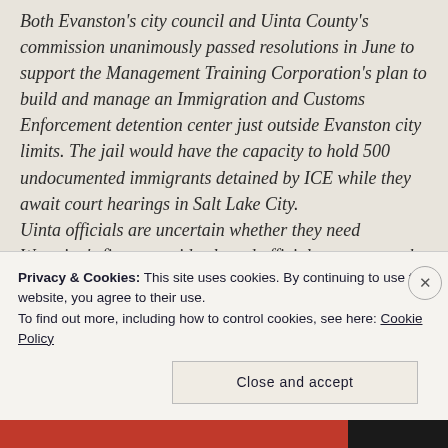Both Evanston's city council and Uinta County's commission unanimously passed resolutions in June to support the Management Training Corporation's plan to build and manage an Immigration and Customs Enforcement detention center just outside Evanston city limits. The jail would have the capacity to hold 500 undocumented immigrants detained by ICE while they await court hearings in Salt Lake City. Uinta officials are uncertain whether they need Wyoming's five statewide elected officials to approve the project. It is possible a jail holding immigration detainees does not require the same level of approval as other forms of private prisons regulated under Wyoming law, a county official
Privacy & Cookies: This site uses cookies. By continuing to use this website, you agree to their use. To find out more, including how to control cookies, see here: Cookie Policy
Close and accept